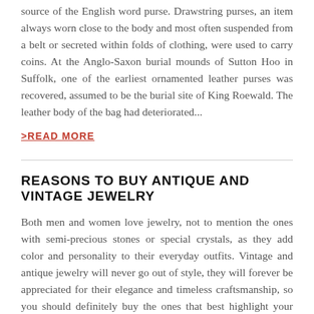source of the English word purse. Drawstring purses, an item always worn close to the body and most often suspended from a belt or secreted within folds of clothing, were used to carry coins. At the Anglo-Saxon burial mounds of Sutton Hoo in Suffolk, one of the earliest ornamented leather purses was recovered, assumed to be the burial site of King Roewald. The leather body of the bag had deteriorated...
>READ MORE
REASONS TO BUY ANTIQUE AND VINTAGE JEWELRY
Both men and women love jewelry, not to mention the ones with semi-precious stones or special crystals, as they add color and personality to their everyday outfits. Vintage and antique jewelry will never go out of style, they will forever be appreciated for their elegance and timeless craftsmanship, so you should definitely buy the ones that best highlight your beauty and character. Furthermore,